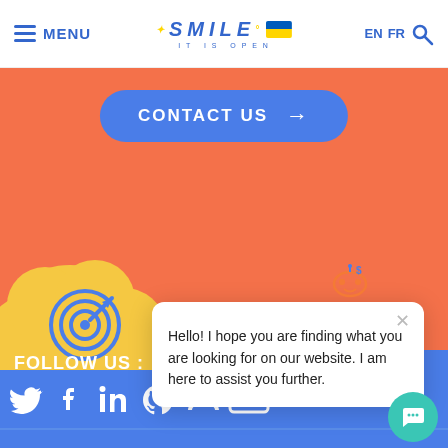MENU | SMILE IT IS OPEN | EN FR [search]
CONTACT US →
[Figure (illustration): Yellow cloud shape with blue target/bullseye icon on orange background]
Hello! I hope you are finding what you are looking for on our website. I am here to assist you further.
FOLLOW US :
[Figure (illustration): Social media icons: Twitter, Facebook, LinkedIn, GitHub, Slideshare, YouTube on blue background]